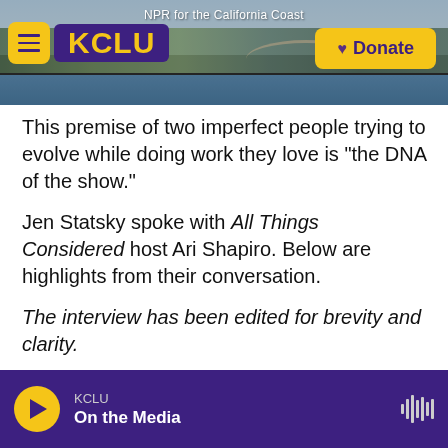[Figure (screenshot): KCLU NPR for the California Coast website header with hamburger menu, KCLU logo, coastal photo background, and yellow Donate button]
This premise of two imperfect people trying to evolve while doing work they love is "the DNA of the show."
Jen Statsky spoke with All Things Considered host Ari Shapiro. Below are highlights from their conversation.
The interview has been edited for brevity and clarity.
On female comics working and thriving in a male-dominated industry:
KCLU | On the Media